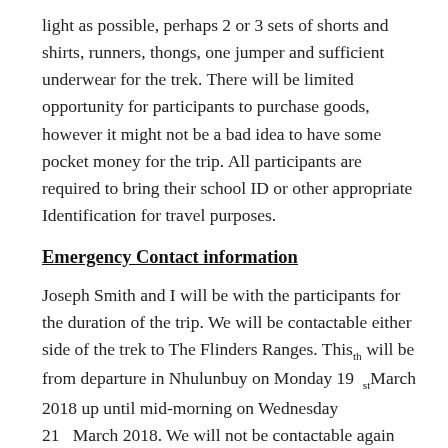light as possible, perhaps 2 or 3 sets of shorts and shirts, runners, thongs, one jumper and sufficient underwear for the trek. There will be limited opportunity for participants to purchase goods, however it might not be a bad idea to have some pocket money for the trip. All participants are required to bring their school ID or other appropriate Identification for travel purposes.
Emergency Contact information
Joseph Smith and I will be with the participants for the duration of the trip. We will be contactable either side of the trek to The Flinders Ranges. This will be from departure in Nhulunbuy on Monday 19 st March 2018 up until mid-morning on Wednesday 21 st March 2018. We will not be contactable again until